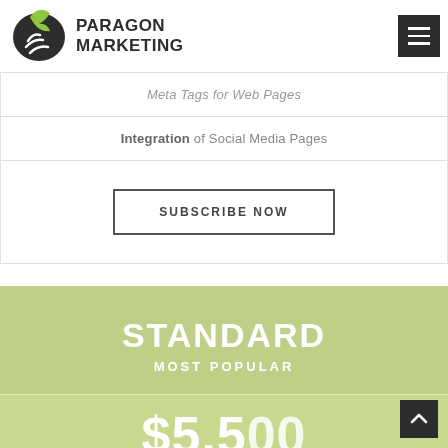[Figure (logo): Paragon Marketing logo with green leaf/bird icon and bold dark text]
Meta Tags for Web Pages
Integration of Social Media Pages
SUBSCRIBE NOW
STANDARD
MOST POPULAR
$5,500